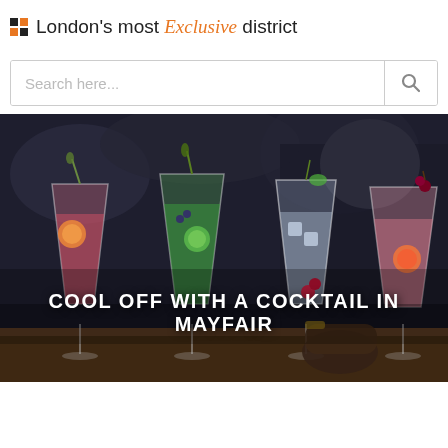London's most Exclusive district
[Figure (screenshot): Search bar with placeholder text 'Search here...' and a magnifying glass search button on the right]
[Figure (photo): Photo of four elegant cocktail glasses with colorful drinks garnished with citrus slices, herbs, and berries, held by a bartender in a dark setting]
COOL OFF WITH A COCKTAIL IN MAYFAIR